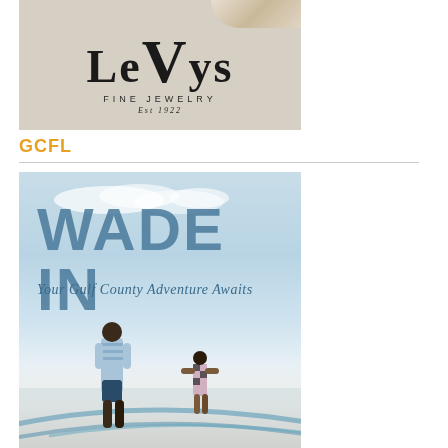[Figure (logo): Levy's Fine Jewelry logo on a beige/linen textured background with wrist accessory at top right. Large serif text 'LEVYS', 'FINE JEWELRY', 'Est 1922' below.]
GCFL
[Figure (photo): Wade In - Your Gulf County Adventure Awaits. Photo showing a father and young daughter walking on a beach. Blue sky, light surf. Text overlay: 'WADE IN' in large blue letters, subtitle 'Your Gulf County Adventure Awaits' in cursive/italic.]